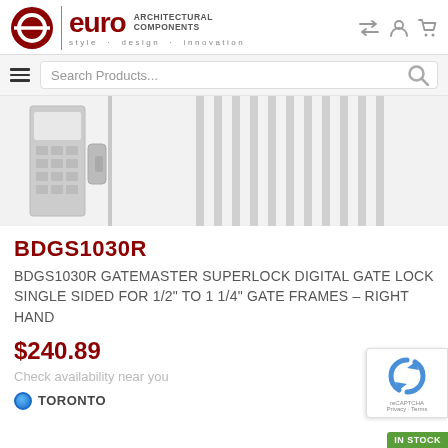[Figure (logo): Euro Architectural Components logo with circular icon, brand name 'euro' in dark red, tagline 'style · design · innovation']
[Figure (screenshot): Search bar with hamburger menu icon and magnifying glass icon on grey background]
[Figure (photo): Product photo of Gatemaster digital gate lock mounted on gate, faded/light style]
BDGS1030R
BDGS1030R GATEMASTER SUPERLOCK DIGITAL GATE LOCK SINGLE SIDED FOR 1/2" TO 1 1/4" GATE FRAMES – RIGHT HAND
$240.89
Check availability near you
TORONTO
In Stock